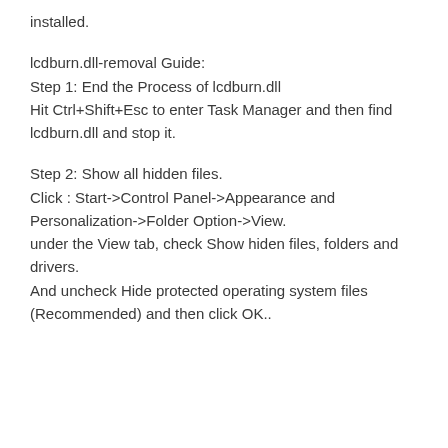installed.
lcdburn.dll-removal Guide:
Step 1: End the Process of lcdburn.dll
Hit Ctrl+Shift+Esc to enter Task Manager and then find lcdburn.dll and stop it.
Step 2: Show all hidden files.
Click : Start->Control Panel->Appearance and Personalization->Folder Option->View.
under the View tab, check Show hiden files, folders and drivers.
And uncheck Hide protected operating system files (Recommended) and then click OK..